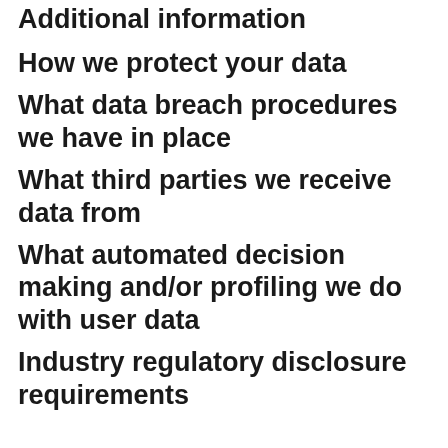Additional information
How we protect your data
What data breach procedures we have in place
What third parties we receive data from
What automated decision making and/or profiling we do with user data
Industry regulatory disclosure requirements